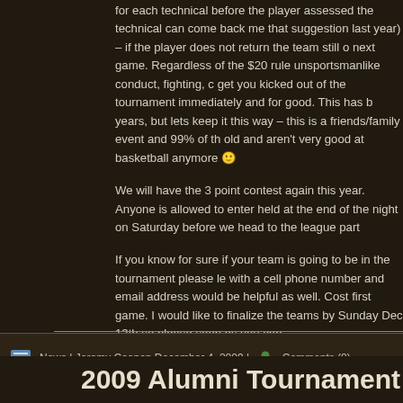for each technical before the player assessed the technical can come back me that suggestion last year) – if the player does not return the team still o next game. Regardless of the $20 rule unsportsmanlike conduct, fighting, c get you kicked out of the tournament immediately and for good. This has b years, but lets keep it this way – this is a friends/family event and 99% of th old and aren't very good at basketball anymore 🙂
We will have the 3 point contest again this year. Anyone is allowed to enter held at the end of the night on Saturday before we head to the league part
If you know for sure if your team is going to be in the tournament please le with a cell phone number and email address would be helpful as well. Cost first game. I would like to finalize the teams by Sunday Dec 13th so please soon as you can.
Thanks,
Jeremy Coenen
http://www.AlumniTourney.com
http://www.facebook.com/pages/Hortonville-Alumni-Tournament/18302324
News | Jeremy Coenen December 4, 2009 | Comments (0)
2009 Alumni Tournament Dates